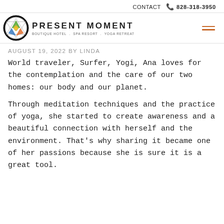CONTACT  828-318-3950
[Figure (logo): Present Moment Boutique Hotel, Spa Resort, Yoga Retreat logo — circular black border with geometric mandala design containing colorful triangle shapes (green, blue, orange, yellow)]
PRESENT MOMENT
BOUTIQUE HOTEL . SPA RESORT . YOGA RETREAT
AUGUST 19, 2022 BY LINDA
World traveler, Surfer, Yogi, Ana loves for the contemplation and the care of our two homes: our body and our planet.
Through meditation techniques and the practice of yoga, she started to create awareness and a beautiful connection with herself and the environment. That’s why sharing it became one of her passions because she is sure it is a great tool.